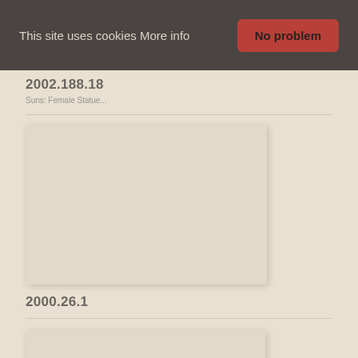This site uses cookies More info  No problem
2002.188.18
Suns: Female Statue...
[Figure (photo): Blank/empty image placeholder box for accession 2002.188.18]
2000.26.1
[Figure (photo): Blank/empty image placeholder box for accession 2000.26.1]